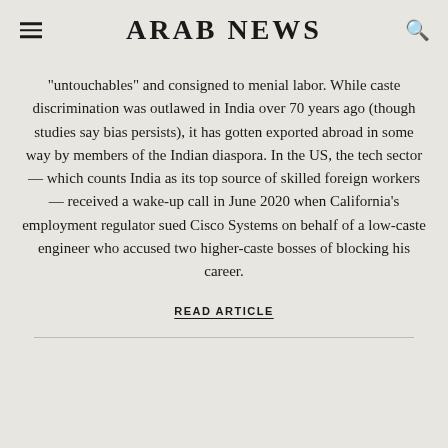ARAB NEWS
“untouchables” and consigned to menial labor. While caste discrimination was outlawed in India over 70 years ago (though studies say bias persists), it has gotten exported abroad in some way by members of the Indian diaspora. In the US, the tech sector — which counts India as its top source of skilled foreign workers — received a wake-up call in June 2020 when California’s employment regulator sued Cisco Systems on behalf of a low-caste engineer who accused two higher-caste bosses of blocking his career.
READ ARTICLE